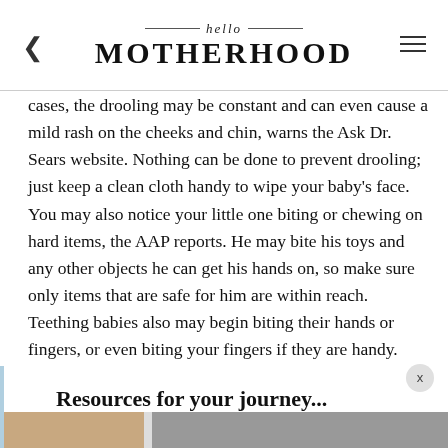hello MOTHERHOOD
cases, the drooling may be constant and can even cause a mild rash on the cheeks and chin, warns the Ask Dr. Sears website. Nothing can be done to prevent drooling; just keep a clean cloth handy to wipe your baby's face. You may also notice your little one biting or chewing on hard items, the AAP reports. He may bite his toys and any other objects he can get his hands on, so make sure only items that are safe for him are within reach. Teething babies also may begin biting their hands or fingers, or even biting your fingers if they are handy.
Resources for your journey...